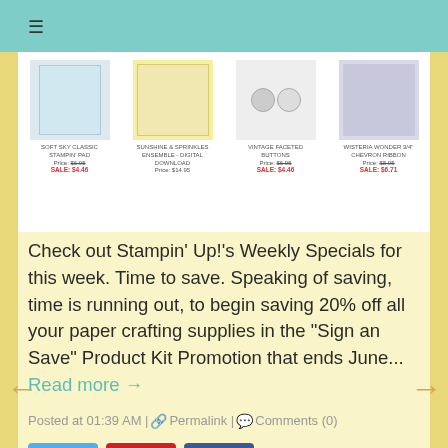[Figure (screenshot): Product listing strip showing: Soft Sky Classic Stampin' Pad, Sunshine & Sprinkles Ensemble - Digital Download, Vintage Faceted Buttons, Wisteria Wonder 3/4" Chevron Ribbon with prices and sale prices]
Check out Stampin' Up!'s Weekly Specials for this week. Time to save. Speaking of saving, time is running out, to begin saving 20% off all your paper crafting supplies in the "Sign an Save" Product Kit Promotion that ends June... Read more →
Posted at 01:39 AM | 🔗 Permalink | 💬 Comments (0)
[Figure (infographic): Social media share buttons: Twitter (blue), Pinterest (red), Facebook (blue)]